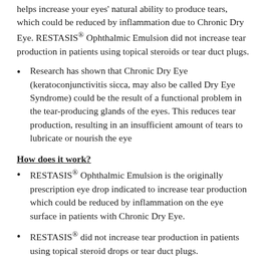helps increase your eyes' natural ability to produce tears, which could be reduced by inflammation due to Chronic Dry Eye. RESTASIS® Ophthalmic Emulsion did not increase tear production in patients using topical steroids or tear duct plugs.
Research has shown that Chronic Dry Eye (keratoconjunctivitis sicca, may also be called Dry Eye Syndrome) could be the result of a functional problem in the tear-producing glands of the eyes. This reduces tear production, resulting in an insufficient amount of tears to lubricate or nourish the eye
How does it work?
RESTASIS® Ophthalmic Emulsion is the originally prescription eye drop indicated to increase tear production which could be reduced by inflammation on the eye surface in patients with Chronic Dry Eye.
RESTASIS® did not increase tear production in patients using topical steroid drops or tear duct plugs.